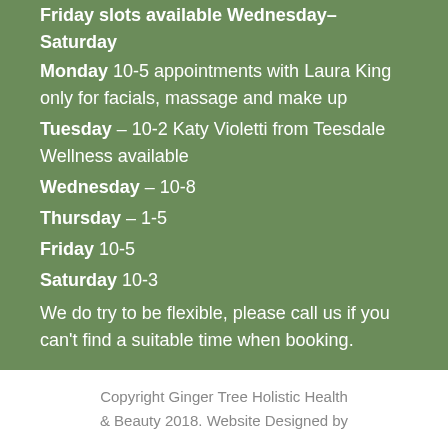Friday slots available Wednesday–Saturday (truncated/strikethrough at top)
Monday 10-5 appointments with Laura King only for facials, massage and make up
Tuesday – 10-2 Katy Violetti from Teesdale Wellness available
Wednesday – 10-8
Thursday – 1-5
Friday 10-5
Saturday 10-3
We do try to be flexible, please call us if you can't find a suitable time when booking.
Copyright Ginger Tree Holistic Health & Beauty 2018. Website Designed by